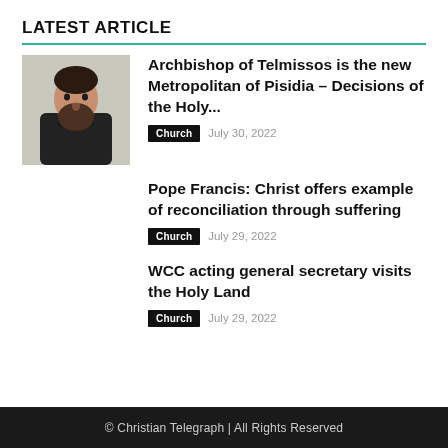LATEST ARTICLE
[Figure (photo): Photo of Archbishop of Telmissos, a bearded man in black clerical vestments]
Archbishop of Telmissos is the new Metropolitan of Pisidia – Decisions of the Holy...
Church   July 30, 2022
Pope Francis: Christ offers example of reconciliation through suffering
Church   July 29, 2022
WCC acting general secretary visits the Holy Land
Church   July 29, 2022
© Christian Telegraph | All Rights Reserved